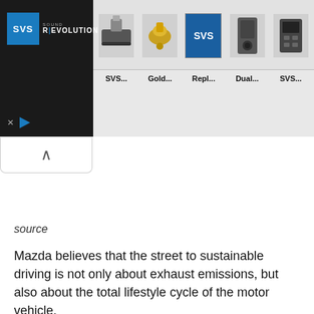[Figure (screenshot): SVS Sound Revolution advertisement banner with logo on dark background on the left and product thumbnails (cables, connectors, SVS logo, speakers, device) with truncated labels SVS..., Gold..., Repl..., Dual..., SVS... on the right]
source
Mazda believes that the street to sustainable driving is not only about exhaust emissions, but also about the total lifestyle cycle of the motor vehicle.